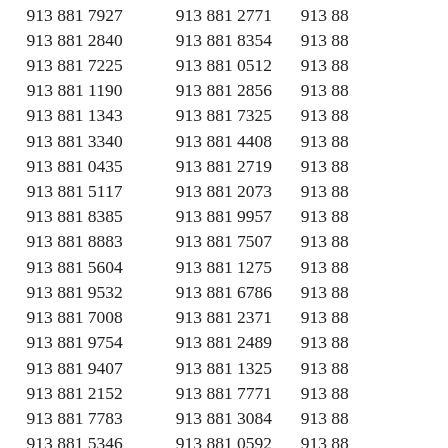913 881 7927
913 881 2840
913 881 7225
913 881 1190
913 881 1343
913 881 3340
913 881 0435
913 881 5117
913 881 8385
913 881 8883
913 881 5604
913 881 9532
913 881 7008
913 881 9754
913 881 9407
913 881 2152
913 881 7783
913 881 5346
913 881 8395
913 881 7503
913 881 4698
913 881 2771
913 881 8354
913 881 0512
913 881 2856
913 881 7325
913 881 4408
913 881 2719
913 881 2073
913 881 9957
913 881 7507
913 881 1275
913 881 6786
913 881 2371
913 881 2489
913 881 1325
913 881 7771
913 881 3084
913 881 0592
913 881 0533
913 881 4779
913 881 2821
913 88...
913 88...
913 88...
913 88...
913 88...
913 88...
913 88...
913 88...
913 88...
913 88...
913 88...
913 88...
913 88...
913 88...
913 88...
913 88...
913 88...
913 88...
913 88...
913 88...
913 88...